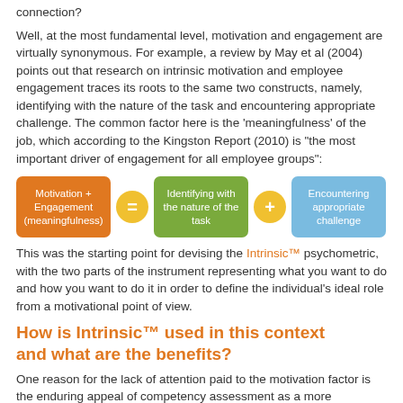connection?
Well, at the most fundamental level, motivation and engagement are virtually synonymous. For example, a review by May et al (2004) points out that research on intrinsic motivation and employee engagement traces its roots to the same two constructs, namely, identifying with the nature of the task and encountering appropriate challenge. The common factor here is the 'meaningfulness' of the job, which according to the Kingston Report (2010) is "the most important driver of engagement for all employee groups":
[Figure (infographic): Equation-style diagram: orange box 'Motivation + Engagement (meaningfulness)' = green box 'Identifying with the nature of the task' + blue box 'Encountering appropriate challenge']
This was the starting point for devising the Intrinsic™ psychometric, with the two parts of the instrument representing what you want to do and how you want to do it in order to define the individual's ideal role from a motivational point of view.
How is Intrinsic™ used in this context and what are the benefits?
One reason for the lack of attention paid to the motivation factor is the enduring appeal of competency assessment as a more immediate solution. However, as long ago as 1996 the International Competency Conference recommendation was in